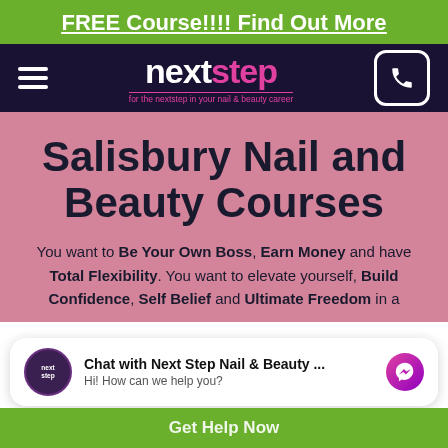FREE Course!!!! Find Out More
[Figure (logo): Next Step logo with tagline 'for the nextstep in your nail & beauty career' on dark navy background, with hamburger menu and phone icon]
Salisbury Nail and Beauty Courses
You want to Be Your Own Boss, Earn Money and have Total Flexibility. You want to elevate yourself, Build Confidence, Self Belief and Ultimate Freedom in a
Chat with Next Step Nail & Beauty ... Hi! How can we help you?
Get Help Now